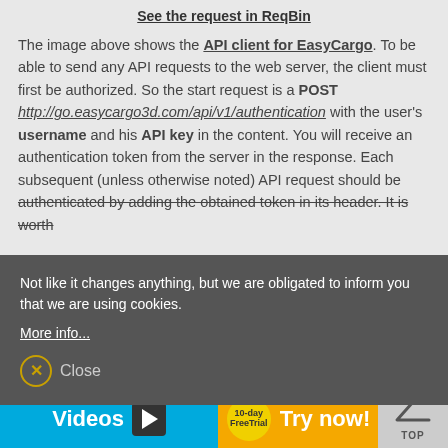See the request in ReqBin
The image above shows the API client for EasyCargo. To be able to send any API requests to the web server, the client must first be authorized. So the start request is a POST http://go.easycargo3d.com/api/v1/authentication with the user's username and his API key in the content. You will receive an authentication token from the server in the response. Each subsequent (unless otherwise noted) API request should be authenticated by adding the obtained token in its header. It is worth
Not like it changes anything, but we are obligated to inform you that we are using cookies.
More info...
Close
following shipping loads stored in his account:
Videos
Try now!
TOP